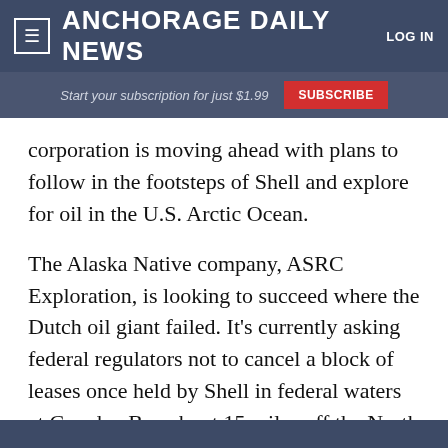Anchorage Daily News  LOG IN
Start your subscription for just $1.99  SUBSCRIBE
corporation is moving ahead with plans to follow in the footsteps of Shell and explore for oil in the U.S. Arctic Ocean.
The Alaska Native company, ASRC Exploration, is looking to succeed where the Dutch oil giant failed. It's currently asking federal regulators not to cancel a block of leases once held by Shell in federal waters at Camden Bay about 15 miles off the North Slope coast northwest of the Arctic National